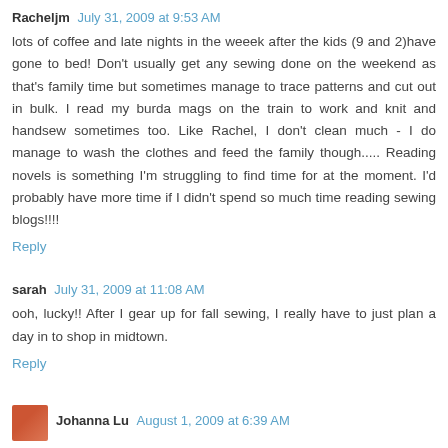Racheljm  July 31, 2009 at 9:53 AM
lots of coffee and late nights in the weeek after the kids (9 and 2)have gone to bed! Don't usually get any sewing done on the weekend as that's family time but sometimes manage to trace patterns and cut out in bulk. I read my burda mags on the train to work and knit and handsew sometimes too. Like Rachel, I don't clean much - I do manage to wash the clothes and feed the family though..... Reading novels is something I'm struggling to find time for at the moment. I'd probably have more time if I didn't spend so much time reading sewing blogs!!!!
Reply
sarah  July 31, 2009 at 11:08 AM
ooh, lucky!! After I gear up for fall sewing, I really have to just plan a day in to shop in midtown.
Reply
Johanna Lu  August 1, 2009 at 6:39 AM